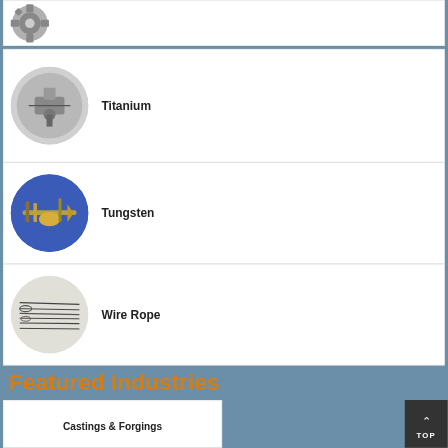[Figure (photo): Partial view of a mechanical/machining component, cropped at top]
Titanium
Tungsten
Wire Rope
Featured Industries
Castings & Forgings